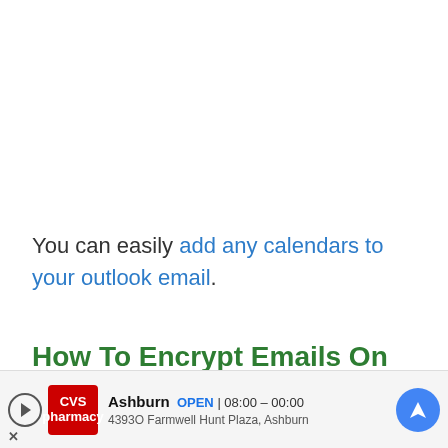You can easily add any calendars to your outlook email.
How To Encrypt Emails On IOS?
iOS devices come with default S/MIME support built
[Figure (other): CVS Pharmacy advertisement banner showing store location in Ashburn, OPEN 08:00-00:00, 43930 Farmwell Hunt Plaza, Ashburn, with navigation icon]